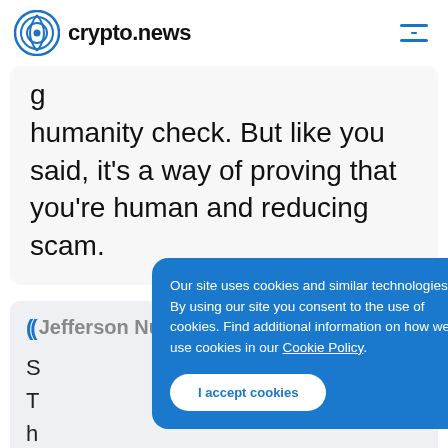crypto.news
g humanity check. But like you said, it's a way of proving that you're human and reducing scam.
Jefferson Nunn  9:37
So Te hu te you know, the anti bot things that
Our site uses cookies and similar technologies. By using our site you consent to the use of cookies. Find additional information on how we use cookies in our Cookie Policy.
I accept cookies